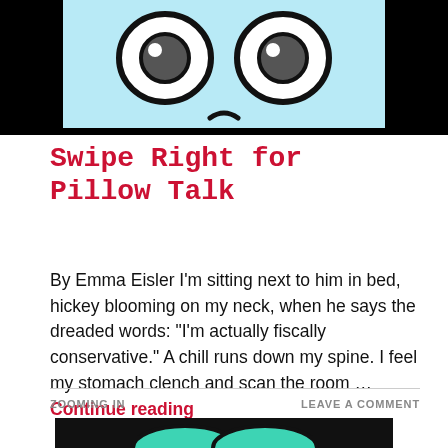[Figure (illustration): Comic-style illustration showing a close-up of cartoon eyes against a light blue background, framed with black borders on a black background. A nose is partially visible at the bottom.]
Swipe Right for Pillow Talk
By Emma Eisler I'm sitting next to him in bed, hickey blooming on my neck, when he says the dreaded words: “I’m actually fiscally conservative.” A chill runs down my spine. I feel my stomach clench and scan the room … Continue reading
ZOOMING IN
LEAVE A COMMENT
[Figure (illustration): Bottom portion of another illustration partially visible, showing dark background with teal/green shapes at bottom edge.]